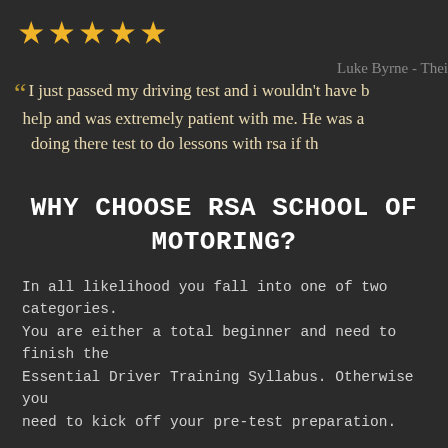[Figure (other): Five gold star rating icons in a row]
Luke Byrne - Thei
“ I just passed my driving test and i wouldn't have b help and was extremely patient with me. He was a doing there test to do lessons with rsa if th
WHY CHOOSE RSA SCHOOL OF MOTORING?
In all likelihood you fall into one of two categories. You are either a total beginner and need to finish the Essential Driver Training Syllabus. Otherwise you need to kick off your pre-test preparation.
WHAT EXACTLY IS